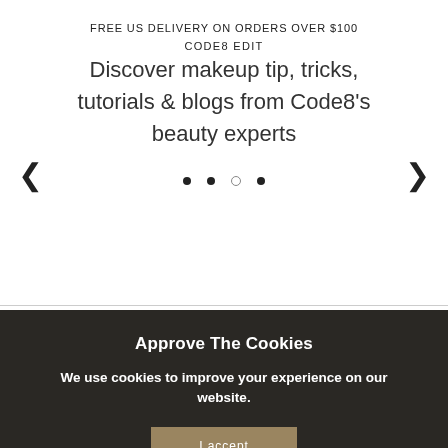FREE US DELIVERY ON ORDERS OVER $100
CODE8 EDIT
Discover makeup tip, tricks, tutorials & blogs from Code8's beauty experts
Approve The Cookies
We use cookies to improve your experience on our website.
I accept